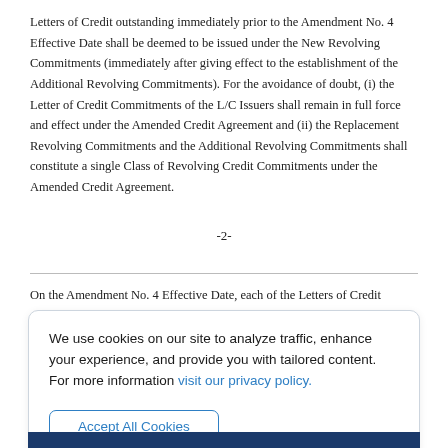Letters of Credit outstanding immediately prior to the Amendment No. 4 Effective Date shall be deemed to be issued under the New Revolving Commitments (immediately after giving effect to the establishment of the Additional Revolving Commitments). For the avoidance of doubt, (i) the Letter of Credit Commitments of the L/C Issuers shall remain in full force and effect under the Amended Credit Agreement and (ii) the Replacement Revolving Commitments and the Additional Revolving Commitments shall constitute a single Class of Revolving Credit Commitments under the Amended Credit Agreement.
-2-
On the Amendment No. 4 Effective Date, each of the Letters of Credit
We use cookies on our site to analyze traffic, enhance your experience, and provide you with tailored content.
For more information visit our privacy policy.
Accept All Cookies